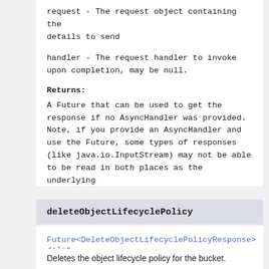request - The request object containing the details to send
handler - The request handler to invoke upon completion, may be null.
Returns:
A Future that can be used to get the response if no AsyncHandler was provided. Note, if you provide an AsyncHandler and use the Future, some types of responses (like java.io.InputStream) may not be able to be read in both places as the underlying stream may only be consumed once.
deleteObjectLifecyclePolicy
Future<DeleteObjectLifecyclePolicyResponse> delet
Deletes the object lifecycle policy for the bucket.
Parameters: